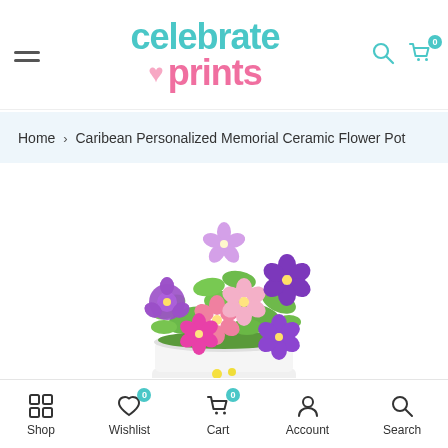celebrate prints — navigation header with hamburger menu, logo, search and cart icons
Home > Caribean Personalized Memorial Ceramic Flower Pot
[Figure (photo): A ceramic flower pot filled with colorful petunia flowers in shades of purple, pink, and lavender with green foliage, on a white background]
Shop | Wishlist (0) | Cart (0) | Account | Search